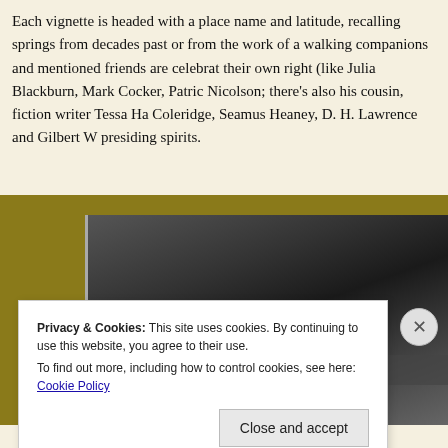Each vignette is headed with a place name and latitude, recalling springs from decades past or from the work of a walking companions and mentioned friends are celebrated in their own right (like Julia Blackburn, Mark Cocker, Patrick Nicolson; there's also his cousin, fiction writer Tessa Hadley Coleridge, Seamus Heaney, D. H. Lawrence and Gilbert White presiding spirits.
[Figure (photo): A photograph partially visible behind a golden/olive colored border, showing dark shelving or furniture elements in black and grey tones.]
Privacy & Cookies: This site uses cookies. By continuing to use this website, you agree to their use.
To find out more, including how to control cookies, see here: Cookie Policy